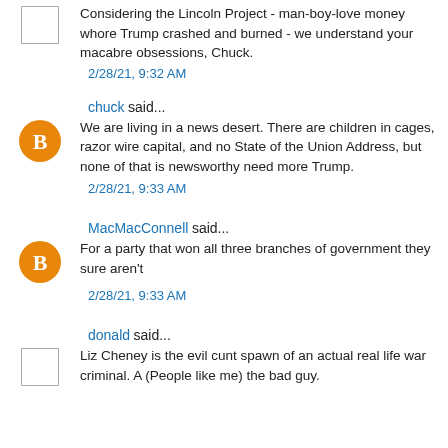Considering the Lincoln Project - man-boy-love money whore Trump crashed and burned - we understand your macabre obsessions, Chuck.
2/28/21, 9:32 AM
chuck said...
We are living in a news desert. There are children in cages, razor wire capital, and no State of the Union Address, but none of that is newsworthy need more Trump.
2/28/21, 9:33 AM
MacMacConnell said...
For a party that won all three branches of government they sure aren't
2/28/21, 9:33 AM
donald said...
Liz Cheney is the evil cunt spawn of an actual real life war criminal. A (People like me) the bad guy.